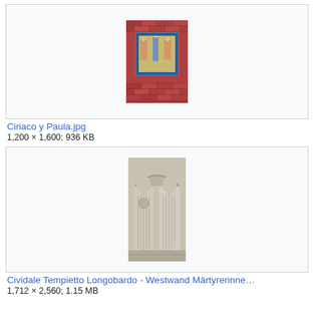[Figure (photo): Photo of a religious mosaic mounted on a red brick wall, showing figures in a decorative tile border]
Ciriaco y Paula.jpg
1,200 × 1,600; 936 KB
[Figure (photo): Photo of a stone relief sculpture showing two robed figures, from the Cividale Tempietto Longobardo west wall]
Cividale Tempietto Longobardo - Westwand Märtyrerinne…
1,712 × 2,560; 1.15 MB